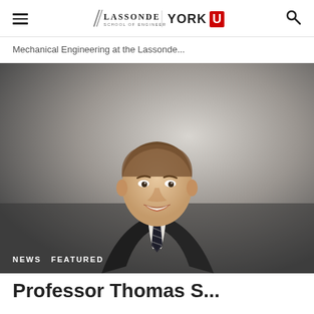Lassonde School of Engineering | York University
Mechanical Engineering at the Lassonde...
[Figure (photo): Professional headshot of a young man in a dark suit and striped tie, smiling, against a grey gradient background. Tags 'NEWS' and 'FEATURED' appear in the lower left of the image.]
Professor Thomas S... (truncated)